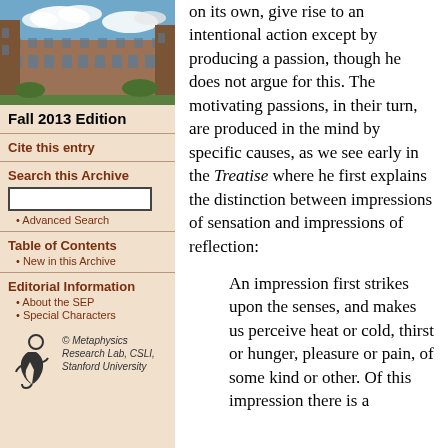[Figure (photo): Photo of a historic university building (stone Gothic architecture) with blue sky and clouds]
Fall 2013 Edition
Cite this entry
Search this Archive
Advanced Search
Table of Contents
New in this Archive
Editorial Information
About the SEP
Special Characters
[Figure (logo): Metaphysics Research Lab logo — stylized figure]
© Metaphysics Research Lab, CSLI, Stanford University
on its own, give rise to an intentional action except by producing a passion, though he does not argue for this. The motivating passions, in their turn, are produced in the mind by specific causes, as we see early in the Treatise where he first explains the distinction between impressions of sensation and impressions of reflection:
An impression first strikes upon the senses, and makes us perceive heat or cold, thirst or hunger, pleasure or pain, of some kind or other. Of this impression there is a